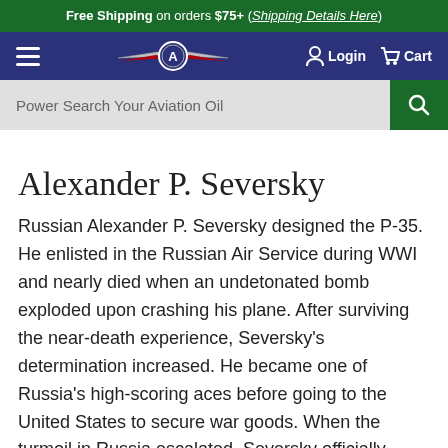Free Shipping on orders $75+ (Shipping Details Here)
[Figure (screenshot): Navy navigation bar with hamburger menu, aviation logo (winged emblem), Login and Cart icons]
[Figure (screenshot): Search bar with placeholder text 'Power Search Your Aviation Oil' and green search button]
Alexander P. Seversky
Russian Alexander P. Seversky designed the P-35. He enlisted in the Russian Air Service during WWI and nearly died when an undetonated bomb exploded upon crashing his plane. After surviving the near-death experience, Seversky's determination increased. He became one of Russia's high-scoring aces before going to the United States to secure war goods. When the turmoil in Russia escalated, Seversky officially became a U.S. citizen.